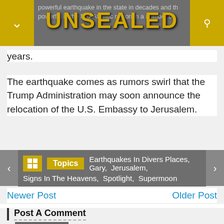UNSEALED — powerful earthquake in the state in decades and the powerful in the Mid-Atlantic region in a number of years.
years.
The earthquake comes as rumors swirl that the Trump Administration may soon announce the relocation of the U.S. Embassy to Jerusalem.
Topics  Earthquakes In Divers Places,  Gary,  Jerusalem,  Signs In The Heavens,  Spotlight,  Supermoon
Newer Post                                   Older Post
Post A Comment
BLOGGER  FACEBOOK  DISQUS  FEATURES